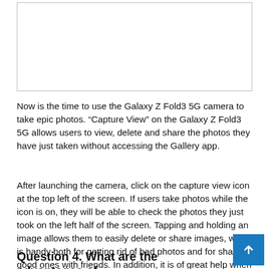[Figure (other): Empty white image box with border at top of page]
Now is the time to use the Galaxy Z Fold3 5G camera to take epic photos. “Capture View” on the Galaxy Z Fold3 5G allows users to view, delete and share the photos they have just taken without accessing the Gallery app.
After launching the camera, click on the capture view icon at the top left of the screen. If users take photos while the icon is on, they will be able to check the photos they just took on the left half of the screen. Tapping and holding an image allows them to easily delete or share images, which is handy both for getting rid of bad photos and for sharing good ones with friends. In addition, it is of great help when trying to capture the perfect image of fast moving subjects, such as children, pets or people playing sports.
Question 4. What are the advantages of...